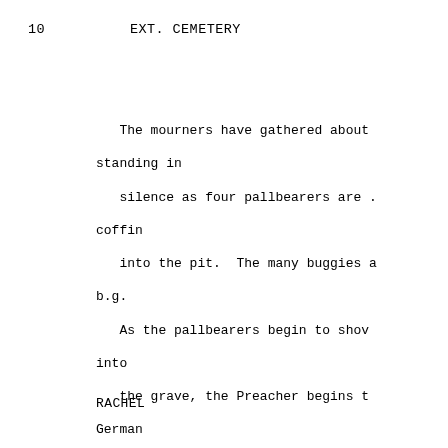10      EXT. CEMETERY
The mourners have gathered about standing in
   silence as four pallbearers are . coffin
   into the pit.  The many buggies a b.g.
   As the pallbearers begin to shov into
   the grave, the Preacher begins t German
   ... a slow atonal litany which s forever on
   the frosty air.
RACHEL